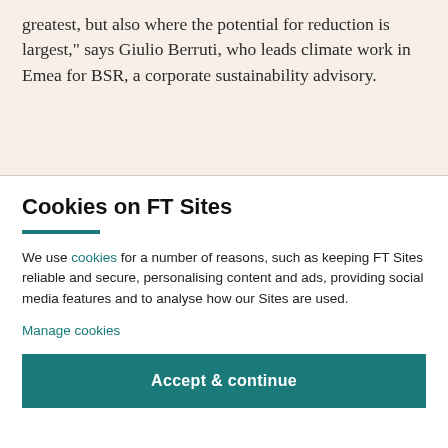greatest, but also where the potential for reduction is largest," says Giulio Berruti, who leads climate work in Emea for BSR, a corporate sustainability advisory.
Cookies on FT Sites
We use cookies for a number of reasons, such as keeping FT Sites reliable and secure, personalising content and ads, providing social media features and to analyse how our Sites are used.
Manage cookies
Accept & continue